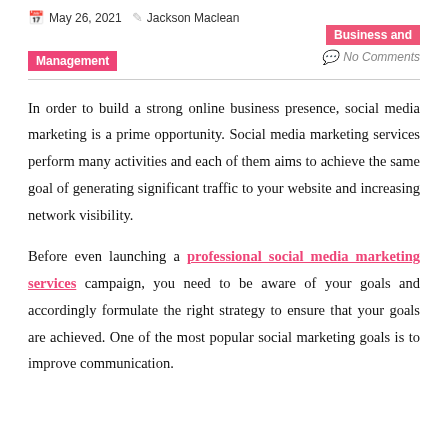May 26, 2021  Jackson Maclean  Business and Management  No Comments
In order to build a strong online business presence, social media marketing is a prime opportunity. Social media marketing services perform many activities and each of them aims to achieve the same goal of generating significant traffic to your website and increasing network visibility.
Before even launching a professional social media marketing services campaign, you need to be aware of your goals and accordingly formulate the right strategy to ensure that your goals are achieved. One of the most popular social marketing goals is to improve communication.